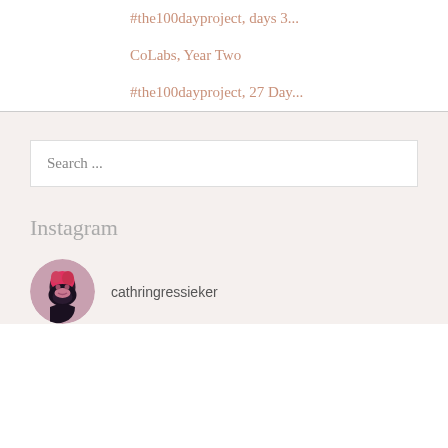#the100dayproject, days 3...
CoLabs, Year Two
#the100dayproject, 27 Day...
Search ...
Instagram
cathringressieker